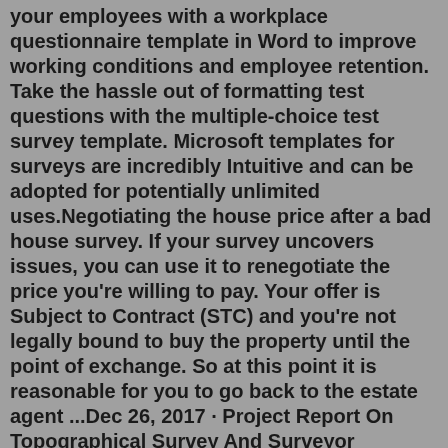your employees with a workplace questionnaire template in Word to improve working conditions and employee retention. Take the hassle out of formatting test questions with the multiple-choice test survey template. Microsoft templates for surveys are incredibly Intuitive and can be adopted for potentially unlimited uses.Negotiating the house price after a bad house survey. If your survey uncovers issues, you can use it to renegotiate the price you're willing to pay. Your offer is Subject to Contract (STC) and you're not legally bound to buy the property until the point of exchange. So at this point it is reasonable for you to go back to the estate agent ...Dec 26, 2017 · Project Report On Topographical Survey And Surveyor Reports. Report December 26, 2017. We tried to get some great references about Project Report On Topographical Survey And Surveyor Reports for you. Here it is. It was coming from reputable online resource and that we enjoy it. We hope you can find what you need here. I am pleased to